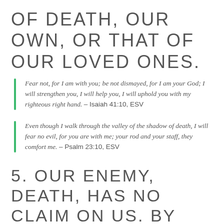OF DEATH, OUR OWN, OR THAT OF OUR LOVED ONES.
Fear not, for I am with you; be not dismayed, for I am your God; I will strengthen you, I will help you, I will uphold you with my righteous right hand. – Isaiah 41:10, ESV
Even though I walk through the valley of the shadow of death, I will fear no evil, for you are with me; your rod and your staff, they comfort me. – Psalm 23:10, ESV
5. OUR ENEMY, DEATH, HAS NO CLAIM ON US. BY THIS.